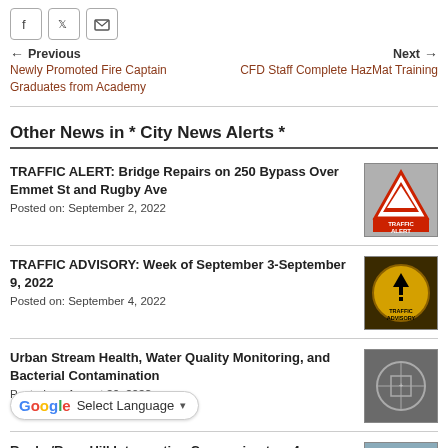[Figure (other): Social share buttons: Facebook, Twitter, Email]
← Previous
Newly Promoted Fire Captain Graduates from Academy
Next →
CFD Staff Complete HazMat Training
Other News in * City News Alerts *
TRAFFIC ALERT: Bridge Repairs on 250 Bypass Over Emmet St and Rugby Ave
Posted on: September 2, 2022
[Figure (photo): Traffic Alert sign image]
TRAFFIC ADVISORY: Week of September 3-September 9, 2022
Posted on: September 4, 2022
[Figure (photo): Traffic Advisory yellow sign image]
Urban Stream Health, Water Quality Monitoring, and Bacterial Contamination
Posted on: August 29, 2022
[Figure (photo): Water quality monitoring thumbnail]
Rugby/Rose Hill Intersection Conversion to a 4-
[Figure (photo): Rugby/Rose Hill intersection thumbnail]